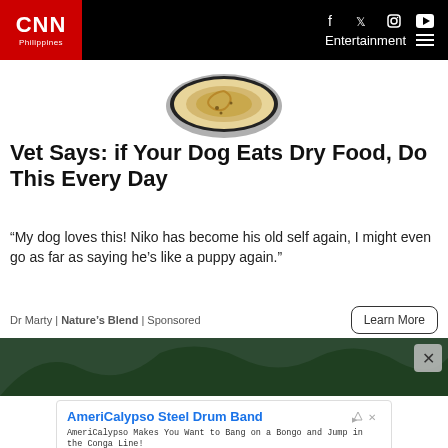CNN Philippines | Entertainment | Social icons: Facebook, Twitter, Instagram, YouTube
[Figure (photo): A bowl with food being poured in, seen from above]
Vet Says: if Your Dog Eats Dry Food, Do This Every Day
“My dog loves this! Niko has become his old self again, I might even go as far as saying he’s like a puppy again.”
Dr Marty | Nature’s Blend | Sponsored
[Figure (photo): Dark green outdoor/nature background banner with close button (x)]
[Figure (screenshot): AmeriCalypso Steel Drum Band advertisement box with Open button]